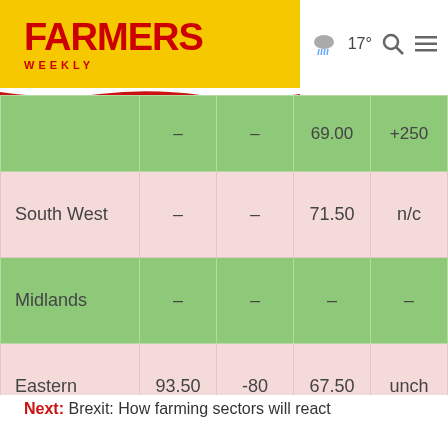FARMERS WEEKLY — 17°
| Region | Col2 | Col3 | Col4 | Col5 |
| --- | --- | --- | --- | --- |
|  | – | – | 69.00 | +250 |
| South West | – | – | 71.50 | n/c |
| Midlands | – | – | – | – |
| Eastern | 93.50 | -80 | 67.50 | unch |
| North East | 92.00 | n/c | 69.30 | -40 |
Next: Brexit: How farming sectors will react